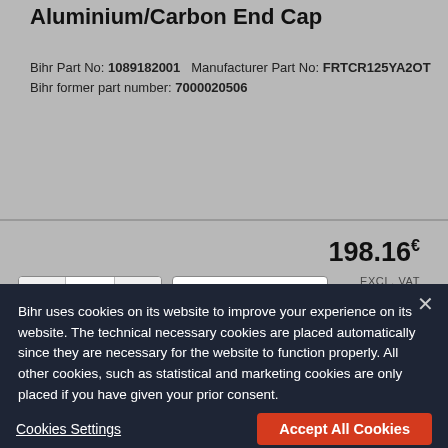Aluminium/Carbon End Cap
Bihr Part No: 1089182001   Manufacturer Part No: FRTCR125YA2OT
Bihr former part number: 7000020506
198.16€ EXCL. VAT
[Figure (screenshot): Quantity selector with minus button, 1, plus button, and a dropdown showing 'Aluminiu...' with chevron]
[Figure (screenshot): Partially visible red Add to Cart button]
Bihr uses cookies on its website to improve your experience on its website. The technical necessary cookies are placed automatically since they are necessary for the website to function properly. All other cookies, such as statistical and marketing cookies are only placed if you have given your prior consent.
Cookies Settings
Accept All Cookies